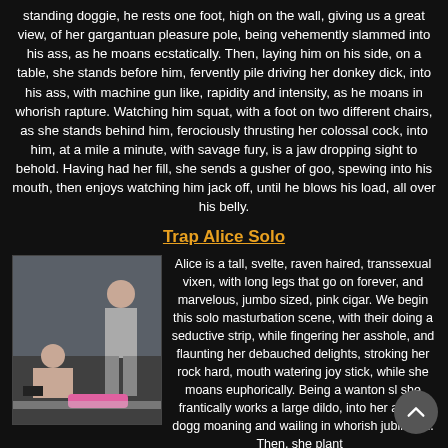standing doggie, he rests one foot, high on the wall, giving us a great view, of her gargantuan pleasure pole, being vehemently slammed into his ass, as he moans ecstatically. Then, laying him on his side, on a table, she stands before him, fervently pile driving her donkey dick, into his ass, with machine gun like, rapidity and intensity, as he moans in whorish rapture. Watching him squat, with a foot on two different chairs, as she stands behind him, ferociously thrusting her colossal cock, into him, at a mile a minute, with savage fury, is a jaw dropping sight to behold. Having had her fill, she sends a gusher of goo, spewing into his mouth, then enjoys watching him jack off, until he blows his load, all over his belly.
Trap Alice Solo
[Figure (photo): Photo of two people in what appears to be a bathroom or tiled room setting]
Alice is a tall, svelte, raven haired, transsexual vixen, with long legs that go on forever, and marvelous, jumbo sized, pink cigar. We begin this solo masturbation scene, with their doing a seductive strip, while fingering her asshole, and flaunting her debauched delights, stroking her rock hard, mouth watering joy stick, while she moans euphorically. Being a wanton sl she frantically works a large dildo, into her ass, in dog moaning and wailing in whorish jubilation. Then, she plant_ the...and she...to the dildo, giving us a great side view...